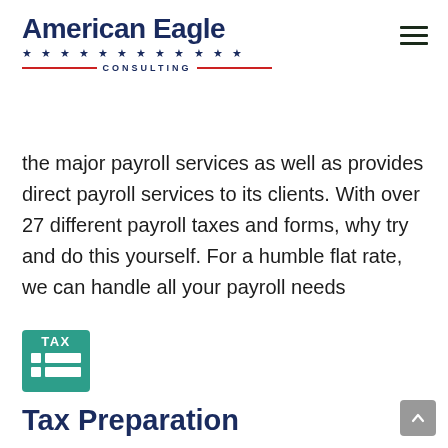American Eagle Consulting
the major payroll services as well as provides direct payroll services to its clients. With over 27 different payroll taxes and forms, why try and do this yourself. For a humble flat rate, we can handle all your payroll needs
[Figure (illustration): Tax document icon — a teal/green rounded rectangle badge with TAX label and two document line rows beneath]
Tax Preparation